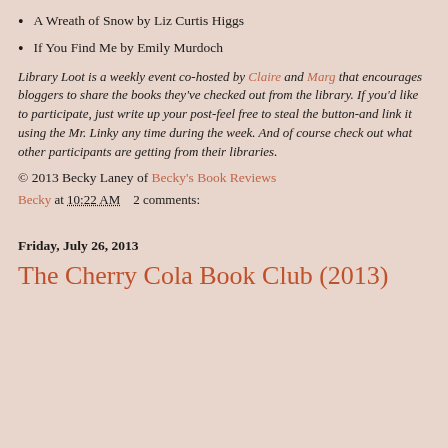A Wreath of Snow by Liz Curtis Higgs
If You Find Me by Emily Murdoch
Library Loot is a weekly event co-hosted by Claire and Marg that encourages bloggers to share the books they've checked out from the library. If you'd like to participate, just write up your post-feel free to steal the button-and link it using the Mr. Linky any time during the week. And of course check out what other participants are getting from their libraries.
© 2013 Becky Laney of Becky's Book Reviews
Becky at 10:22 AM   2 comments:
Friday, July 26, 2013
The Cherry Cola Book Club (2013)